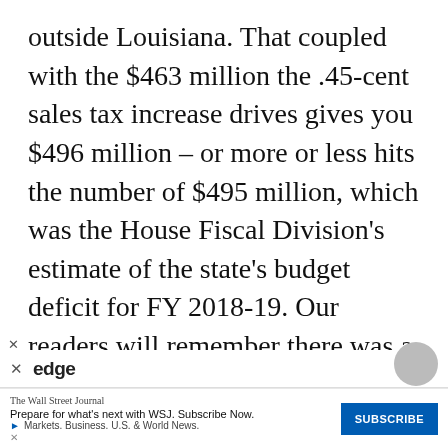outside Louisiana. That coupled with the $463 million the .45-cent sales tax increase drives gives you $496 million – or more or less hits the number of $495 million, which was the House Fiscal Division's estimate of the state's budget deficit for FY 2018-19. Our readers will remember there was a controversy between the House and Edwards over this number; Edwards' claim was that the state was $648 million short of funding and he sent Commissioner of Administration Jay Dardenne into various committee rooms to howl and scream that the $495 million was a fraudulent number and an i...
[Figure (screenshot): Advertisement overlay: Edge browser ad bar and Wall Street Journal subscription banner with SUBSCRIBE button]